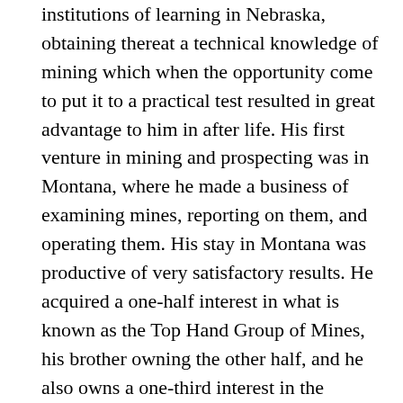institutions of learning in Nebraska, obtaining thereat a technical knowledge of mining which when the opportunity come to put it to a practical test resulted in great advantage to him in after life. His first venture in mining and prospecting was in Montana, where he made a business of examining mines, reporting on them, and operating them. His stay in Montana was productive of very satisfactory results. He acquired a one-half interest in what is known as the Top Hand Group of Mines, his brother owning the other half, and he also owns a one-third interest in the Tenderfoot Mine. Both of these properties are near Pony, about sixty miles from Butte, and have been rich producers of ore. In Goldfield, Nev., Mr. Gordon is interested in the Rep Top Mine, in the development of which he had as co-operators W. E. Hughey, C. D. Taylor, R. L. Colburn, and H. L. Taylor, and he is President of the